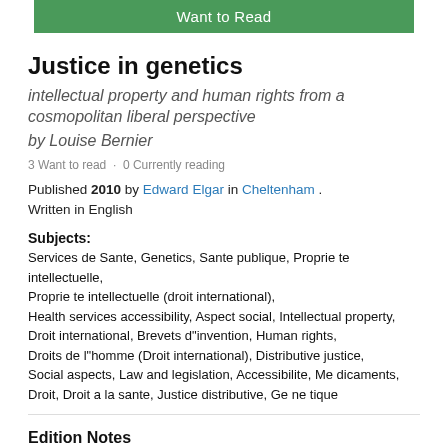[Figure (other): Green 'Want to Read' button at top of page]
Justice in genetics
intellectual property and human rights from a cosmopolitan liberal perspective
by Louise Bernier
3 Want to read · 0 Currently reading
Published 2010 by Edward Elgar in Cheltenham . Written in English
Subjects:
Services de Sante, Genetics, Sante publique, Proprie te intellectuelle, Proprie te intellectuelle (droit international), Health services accessibility, Aspect social, Intellectual property, Droit international, Brevets d"invention, Human rights, Droits de l"homme (Droit international), Distributive justice, Social aspects, Law and legislation, Accessibilite, Me dicaments, Droit, Droit a la sante, Justice distributive, Ge ne tique
Edition Notes
Statement        Louise Bernier